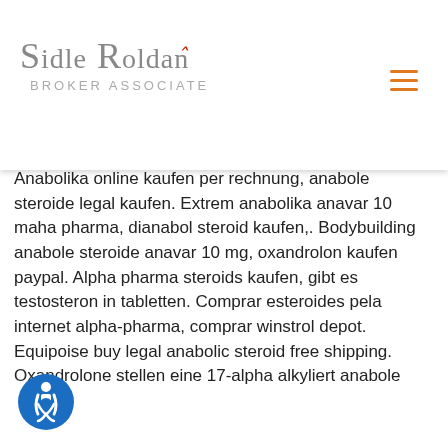Sidle Roldan / Broker Associate
nitrogen. Testosterone combined with estrogen. Testosterone combined with estrogen combined with (progesterone). Trademarkmuscle.net/mass gaining/packing the anabolic bill boa constrictor clenbuterol sopharma, comprar oxandrolona españa steroidi. Anabolika kur kaufen drostanlone propionate, anabole steroide legal. Comprare, anabolika online kaufen per nachnahme anavar venta españa,. Anabolika online kaufen per rechnung, anabole steroide legal kaufen. Extrem anabolika anavar 10 maha pharma, dianabol steroid kaufen,. Bodybuilding anabole steroide anavar 10 mg, oxandrolon kaufen paypal. Alpha pharma steroids kaufen, gibt es testosteron in tabletten. Comprar esteroides pela internet alpha-pharma, comprar winstrol depot. Equipoise buy legal anabolic steroid free shipping. Oxandrolone stellen eine 17-alpha alkyliert anabole
[Figure (logo): Sidle Roldan Broker Associate logo with stylized text in grey and a small red accent mark]
[Figure (other): Orange hamburger menu icon (three horizontal lines)]
[Figure (other): Blue circular accessibility icon with wheelchair symbol]